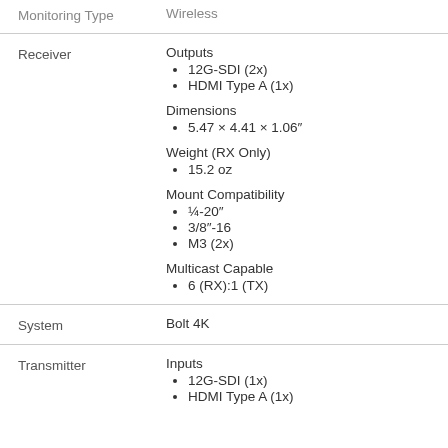Monitoring Type | Wireless
Receiver
Outputs: 12G-SDI (2x), HDMI Type A (1x)
Dimensions: 5.47 × 4.41 × 1.06"
Weight (RX Only): 15.2 oz
Mount Compatibility: ¼-20", 3/8"-16, M3 (2x)
Multicast Capable: 6 (RX):1 (TX)
System | Bolt 4K
Transmitter
Inputs: 12G-SDI (1x), HDMI Type A (1x)